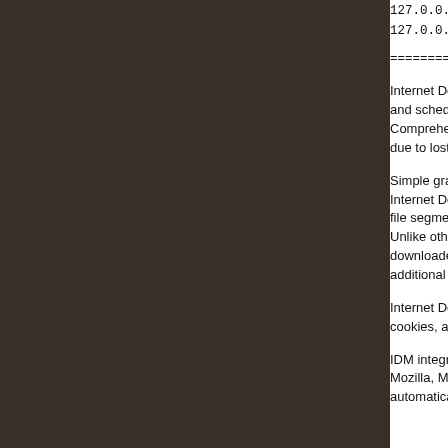127.0.0.1 mirror2.ir...
127.0.0.1 mirror3.ir...
==============================
Internet Download ... and schedule down... Comprehensive en... due to lost connect...
Simple graphic use... Internet Download ... file segmentation a... Unlike other downl... downloaded files d... additional connect ...
Internet Download ... cookies, authorizat...
IDM integrates sea... Mozilla, Mozilla Fir... automatically hand...